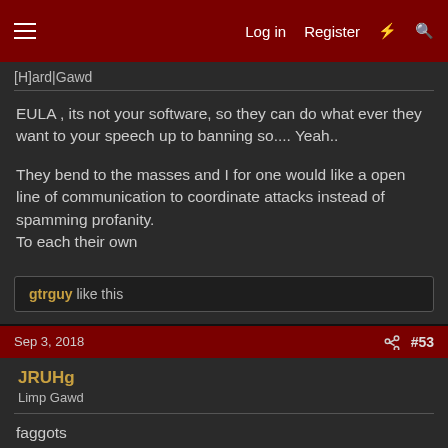Log in  Register  #53
[H]ard|Gawd
EULA , its not your software, so they can do what ever they want to your speech up to banning so.... Yeah..

They bend to the masses and I for one would like a open line of communication to coordinate attacks instead of spamming profanity.
To each their own
gtrguy like this
Sep 3, 2018  #53
JRUHg
Limp Gawd
faggots